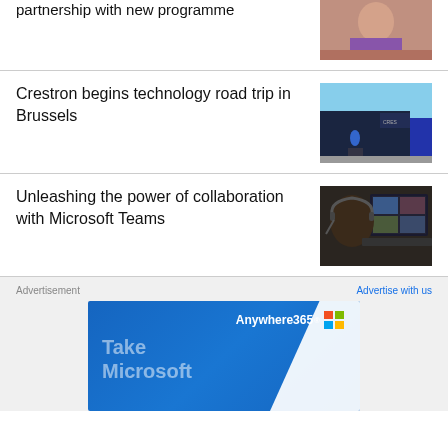partnership with new programme
[Figure (photo): A photo of a smiling woman, partial at top of page]
Crestron begins technology road trip in Brussels
[Figure (photo): A large dark blue Crestron branded truck/trailer at an event]
Unleashing the power of collaboration with Microsoft Teams
[Figure (photo): A woman wearing a headset looking at a laptop screen showing a video call]
Advertisement
Advertise with us
[Figure (screenshot): Anywhere365 advertisement banner with blue background showing 'Take Microsoft' text and colorful logo]